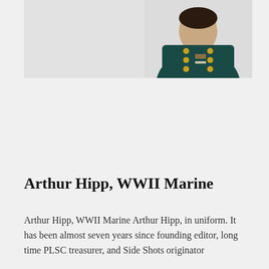[Figure (photo): Arthur Hipp in WWII Marine uniform — dark teal dress jacket with gold buttons, photographed against a light grey background, upper body visible, figure positioned towards the right side of the image.]
Arthur Hipp, WWII Marine
Arthur Hipp, WWII Marine Arthur Hipp, in uniform. It has been almost seven years since founding editor, long time PLSC treasurer, and Side Shots originator